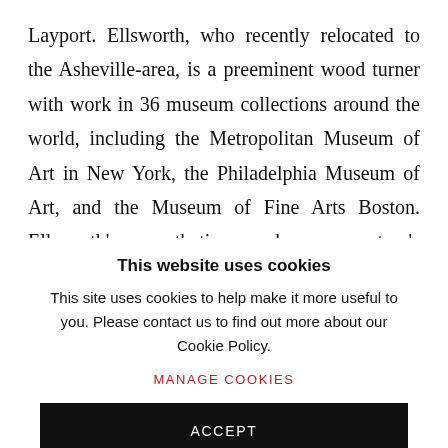Layport. Ellsworth, who recently relocated to the Asheville-area, is a preeminent wood turner with work in 36 museum collections around the world, including the Metropolitan Museum of Art in New York, the Philadelphia Museum of Art, and the Museum of Fine Arts Boston. Ellsworth's aesthetic embraces nature's irregularities and might be compared to
This website uses cookies
This site uses cookies to help make it more useful to you. Please contact us to find out more about our Cookie Policy.
MANAGE COOKIES
ACCEPT